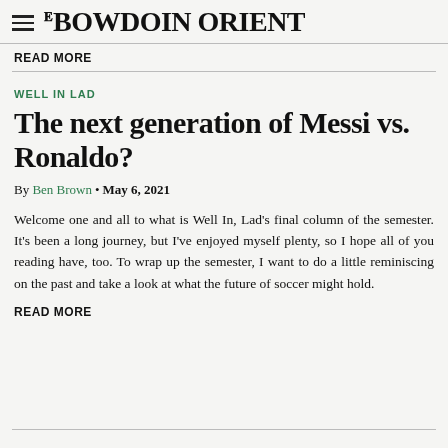THE BOWDOIN ORIENT
READ MORE
WELL IN LAD
The next generation of Messi vs. Ronaldo?
By Ben Brown • May 6, 2021
Welcome one and all to what is Well In, Lad's final column of the semester. It's been a long journey, but I've enjoyed myself plenty, so I hope all of you reading have, too. To wrap up the semester, I want to do a little reminiscing on the past and take a look at what the future of soccer might hold.
READ MORE